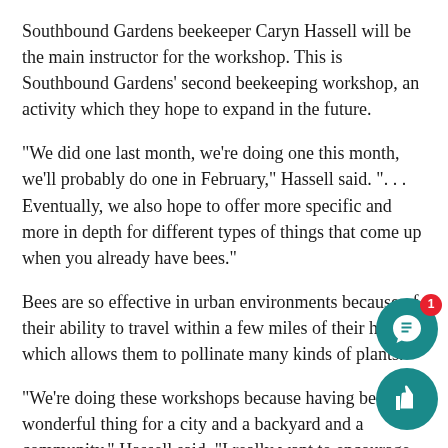Southbound Gardens beekeeper Caryn Hassell will be the main instructor for the workshop. This is Southbound Gardens' second beekeeping workshop, an activity which they hope to expand in the future.
“We did one last month, we’re doing one this month, we’ll probably do one in February,” Hassell said. “. . . Eventually, we also hope to offer more specific and more in depth for different types of things that come up when you already have bees.”
Bees are so effective in urban environments because of their ability to travel within a few miles of their hive, which allows them to pollinate many kinds of plants.
“We’re doing these workshops because having bees is a wonderful thing for a city and a backyard and a community,” Hassell said. “I really want to encourage people to come o… get more information if they are not familiar because it’s easie… and way more rewarding to have bees than I think most pe… realize.”